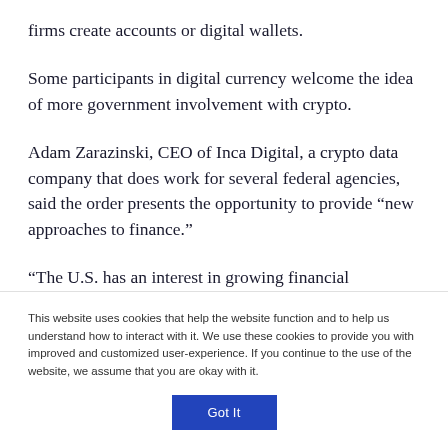firms create accounts or digital wallets.
Some participants in digital currency welcome the idea of more government involvement with crypto.
Adam Zarazinski, CEO of Inca Digital, a crypto data company that does work for several federal agencies, said the order presents the opportunity to provide “new approaches to finance.”
“The U.S. has an interest in growing financial
This website uses cookies that help the website function and to help us understand how to interact with it. We use these cookies to provide you with improved and customized user-experience. If you continue to the use of the website, we assume that you are okay with it.
Got It